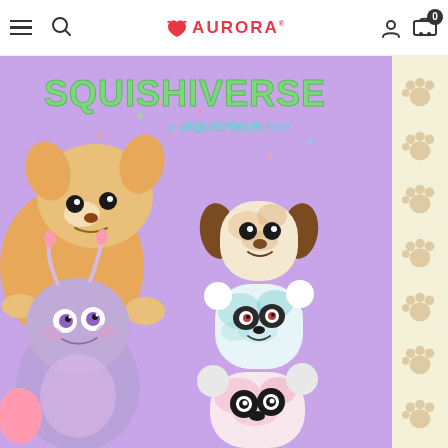Aurora - Squishiverse navigation bar with hamburger menu, search icon, Aurora logo, user icon, and cart with 0 items
[Figure (photo): Aurora Squishiverse product banner on purple background. Text reads 'SQUISHIVERSE - a very SQUISHY multiverse'. Shows cute plush toys: an orange corgi top left, a purple bug/alien creature bottom left, and stacked squishy cylindrical plush animals (dog on top, panda in middle, koala at bottom) on the right side.]
[Figure (illustration): Right side panel with cream/beige background showing repeating paw print icons in a light tan color]